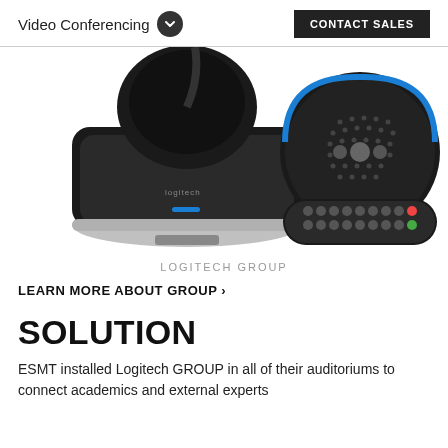Video Conferencing  CONTACT SALES
[Figure (photo): Logitech GROUP video conferencing camera on the left and Logitech GROUP speakerphone with remote control on the right, shown from above on a white background.]
LOGITECH GROUP
LEARN MORE ABOUT GROUP ›
SOLUTION
ESMT installed Logitech GROUP in all of their auditoriums to connect academics and external experts